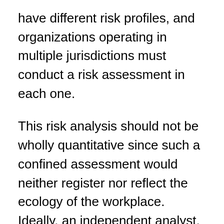have different risk profiles, and organizations operating in multiple jurisdictions must conduct a risk assessment in each one.
This risk analysis should not be wholly quantitative since such a confined assessment would neither register nor reflect the ecology of the workplace. Ideally, an independent analyst, whose vision would not be clouded by the current culture, could provide open-minded leadership with an understanding of how people in the company are interacting, how managers are relating to employees and how informal information is shared in the workplace. Such an analysis could reveal where pockets of discontent exist, where dysfunctional behavior